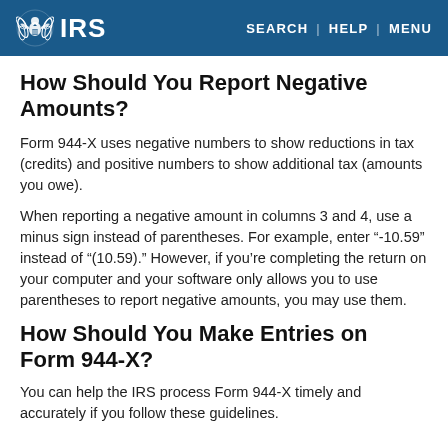IRS — SEARCH | HELP | MENU
How Should You Report Negative Amounts?
Form 944-X uses negative numbers to show reductions in tax (credits) and positive numbers to show additional tax (amounts you owe).
When reporting a negative amount in columns 3 and 4, use a minus sign instead of parentheses. For example, enter "-10.59" instead of "(10.59)." However, if you’re completing the return on your computer and your software only allows you to use parentheses to report negative amounts, you may use them.
How Should You Make Entries on Form 944-X?
You can help the IRS process Form 944-X timely and accurately if you follow these guidelines.